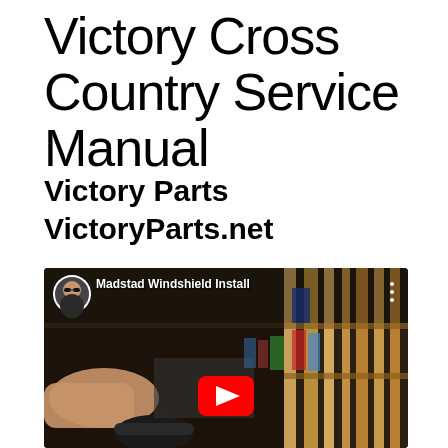Victory Cross Country Service Manual
Victory Parts
VictoryParts.net
[Figure (screenshot): YouTube video thumbnail showing 'Madstad Windshield Install' with a person working on a motorcycle in a workshop. A red YouTube play button is visible in the center. A circular avatar of a man with sunglasses appears in the top-left corner of the video.]